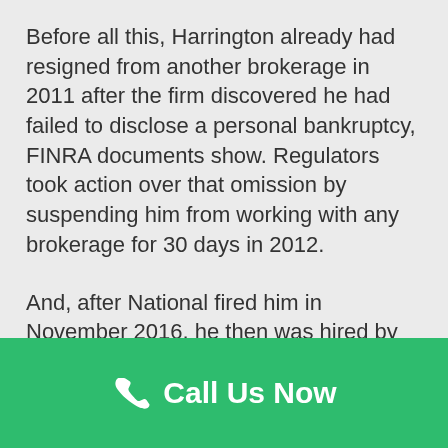Before all this, Harrington already had resigned from another brokerage in 2011 after the firm discovered he had failed to disclose a personal bankruptcy, FINRA documents show. Regulators took action over that omission by suspending him from working with any brokerage for 30 days in 2012.
And, after National fired him in November 2016, he then was hired by Aurora Capital in Bridgehampton, New York, until last year.
Call Us Now